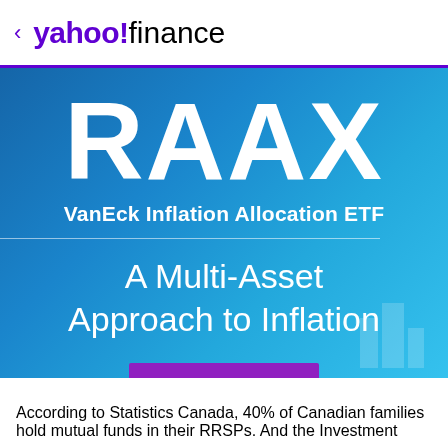< yahoo!finance
[Figure (infographic): Blue gradient banner for RAAX VanEck Inflation Allocation ETF with large white RAAX ticker text, subtitle 'VanEck Inflation Allocation ETF', a horizontal divider, and text 'A Multi-Asset Approach to Inflation'. Purple bar at bottom. Faint building/chart icon watermark in lower right.]
According to Statistics Canada, 40% of Canadian families hold mutual funds in their RRSPs. And the Investment